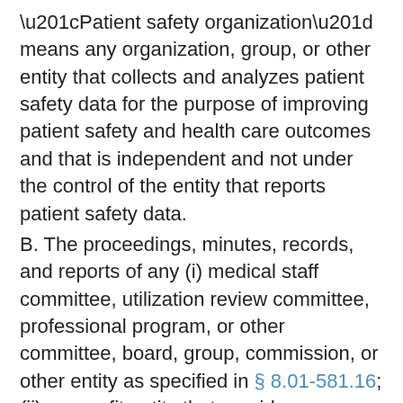“Patient safety organization” means any organization, group, or other entity that collects and analyzes patient safety data for the purpose of improving patient safety and health care outcomes and that is independent and not under the control of the entity that reports patient safety data.
B. The proceedings, minutes, records, and reports of any (i) medical staff committee, utilization review committee, professional program, or other committee, board, group, commission, or other entity as specified in § 8.01-581.16; (ii) nonprofit entity that provides a centralized credentialing service; or (iii) quality assurance, quality of care, or peer review committee established pursuant to guidelines approved or adopted by (a) a national or state physician peer review entity, (b) a national or